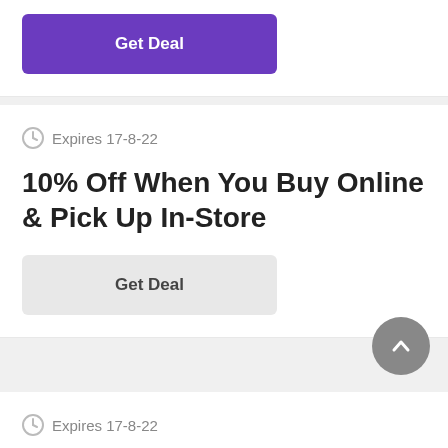[Figure (other): Purple 'Get Deal' button at top of page]
Expires 17-8-22
10% Off When You Buy Online & Pick Up In-Store
[Figure (other): Gray 'Get Deal' button]
[Figure (other): Gray scroll-to-top circular button with upward chevron]
Expires 17-8-22
Petco Discount: Petco Vital Care